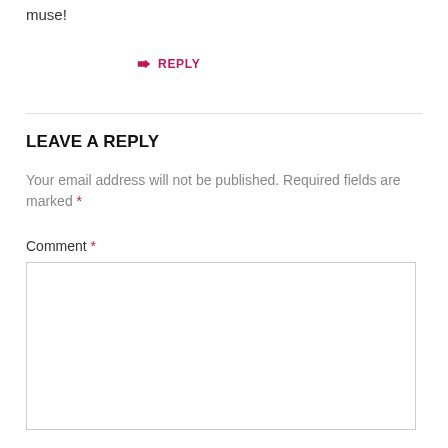muse!
↳ REPLY
LEAVE A REPLY
Your email address will not be published. Required fields are marked *
Comment *